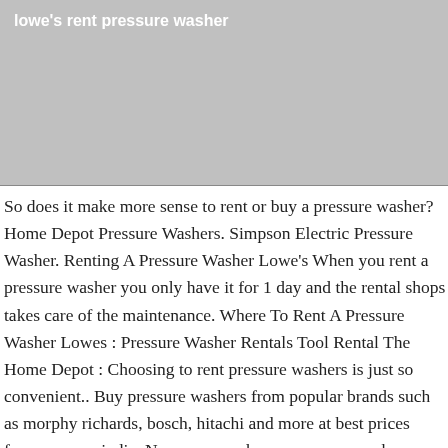lowe's rent pressure washer
[Figure (photo): Gray placeholder image area beneath the header title]
So does it make more sense to rent or buy a pressure washer? Home Depot Pressure Washers. Simpson Electric Pressure Washer. Renting A Pressure Washer Lowe's When you rent a pressure washer you only have it for 1 day and the rental shops takes care of the maintenance. Where To Rent A Pressure Washer Lowes : Pressure Washer Rentals Tool Rental The Home Depot : Choosing to rent pressure washers is just so convenient.. Buy pressure washers from popular brands such as morphy richards, bosch, hitachi and more at best prices from amazon india. No power washer or pressure washer experience needed. This electric pressure washer delivers 1700 PSI Tru-Measure, ensuring you get the highest level of cleaning power and driven by a